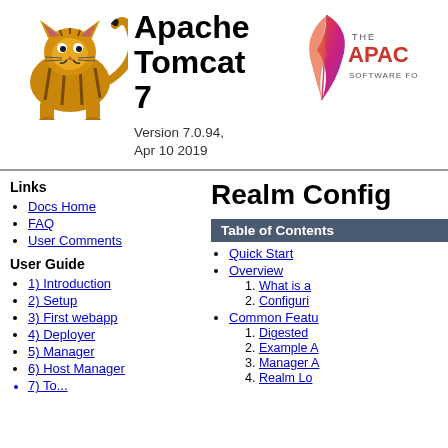[Figure (logo): Apache Tomcat cat mascot logo (orange striped cat crouching)]
Apache Tomcat 7
Version 7.0.94, Apr 10 2019
[Figure (logo): The Apache Software Foundation feather logo (red/pink gradient feather) with text THE APACHE SOFTWARE FO...]
Links
Docs Home
FAQ
User Comments
User Guide
1) Introduction
2) Setup
3) First webapp
4) Deployer
5) Manager
6) Host Manager
Realm Config
Table of Contents
Quick Start
Overview
1. What is a
2. Configuri
Common Featu
1. Digested
2. Example A
3. Manager A
4. Realm Lo